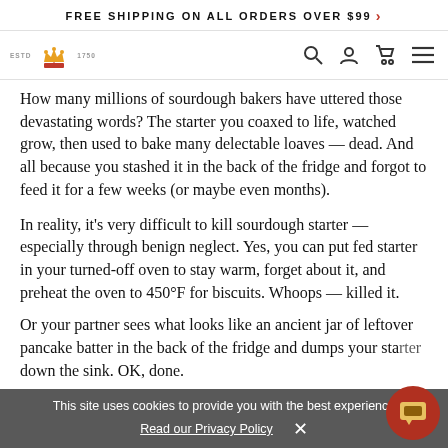FREE SHIPPING ON ALL ORDERS OVER $99 >
[Figure (logo): King Arthur Baking Company logo with crown and wheat emblem, ESTD 1750]
How many millions of sourdough bakers have uttered those devastating words? The starter you coaxed to life, watched grow, then used to bake many delectable loaves — dead. And all because you stashed it in the back of the fridge and forgot to feed it for a few weeks (or maybe even months).
In reality, it's very difficult to kill sourdough starter — especially through benign neglect. Yes, you can put fed starter in your turned-off oven to stay warm, forget about it, and preheat the oven to 450°F for biscuits. Whoops — killed it.
Or your partner sees what looks like an ancient jar of leftover pancake batter in the back of the fridge and dumps your starter down the sink. OK, done.
This site uses cookies to provide you with the best experience
Read our Privacy Policy